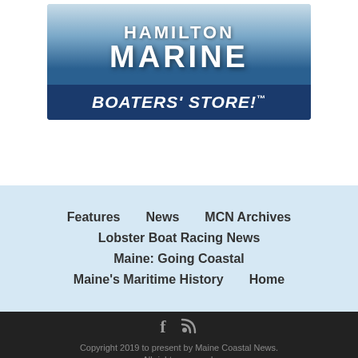[Figure (logo): Hamilton Marine Boaters' Store logo — white bold text 'HAMILTON MARINE' over ocean wave background, with dark navy bar below reading 'BOATERS' STORE!™' in white italic bold text]
Features
News
MCN Archives
Lobster Boat Racing News
Maine: Going Coastal
Maine's Maritime History
Home
Copyright 2019 to present by Maine Coastal News. All rights reserved. If you would like to reprint any content on this